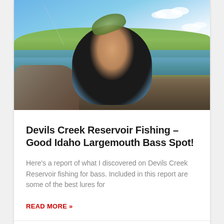[Figure (photo): A person holding up a largemouth bass fish near Devils Creek Reservoir, Idaho. Blue sky with clouds, green hills and water in the background, rocks in foreground.]
Devils Creek Reservoir Fishing – Good Idaho Largemouth Bass Spot!
Here's a report of what I discovered on Devils Creek Reservoir fishing for bass. Included in this report are some of the best lures for
READ MORE »
September 4, 2019